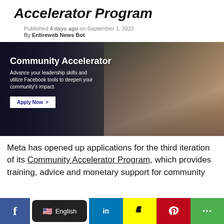Accelerator Program
Published 4 days ago on September 1, 2022
By Entireweb News Bot
[Figure (photo): Hero banner image for Facebook Community Accelerator Program showing a smiling woman in a camouflage jacket with arm raised, with overlaid text: 'Community Accelerator — Advance your leadership skills and utilize Facebook tools to deepen your community's impact.' and an 'Apply Now >' button.]
Meta has opened up applications for the third iteration of its Community Accelerator Program, which provides training, advice and monetary support for community
f  English  in  [Snapchat]  [Pinterest]  [Share]